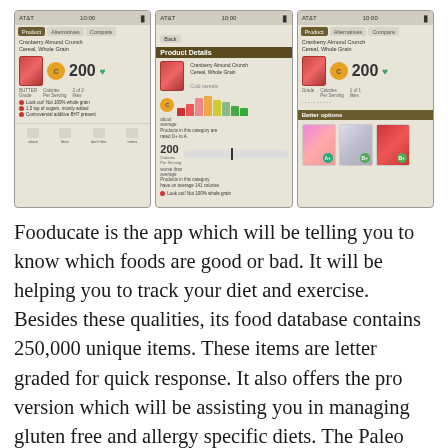[Figure (screenshot): Three smartphone screenshots of the Fooducate app showing Product tab with Cranberry Almond Crunch Cereal grade and alerts, Product Details with calorie bar charts, and Compare tab with Better Options showing alternative cereal products graded A+ and B+]
Fooducate is the app which will be telling you to know which foods are good or bad. It will be helping you to track your diet and exercise. Besides these qualities, its food database contains 250,000 unique items. These items are letter graded for quick response. It also offers the pro version which will be assisting you in managing gluten free and allergy specific diets. The Paleo diet and other diets